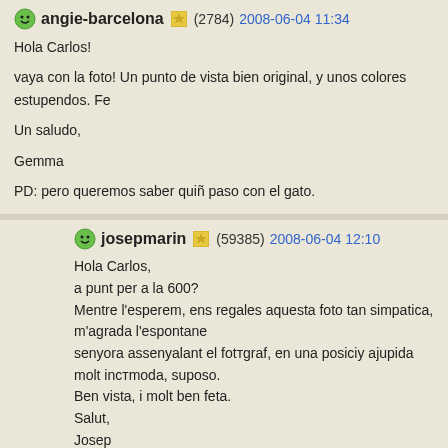angie-barcelona (2784) 2008-06-04 11:34
Hola Carlos!

vaya con la foto! Un punto de vista bien original, y unos colores estupendos. Fe

Un saludo,

Gemma

PD: pero queremos saber quiñ paso con el gato.
josepmarin (59385) 2008-06-04 12:10
Hola Carlos,
a punt per a la 600?
Mentre l'esperem, ens regales aquesta foto tan simpatica, m'agrada l'espontane senyora assenyalant el fotтgraf, en una posiciy ajupida molt incтmoda, suposo.
Ben vista, i molt ben feta.
Salut,
Josep
ElAprendiz (30) 2008-06-04 12:18
Hola Carlos: